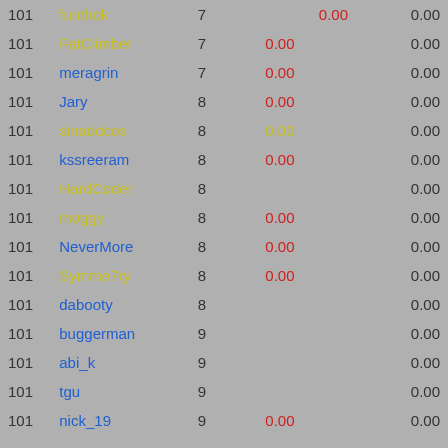| Rank | Name | Num | Score1 |  | Score2 |
| --- | --- | --- | --- | --- | --- |
| 101 | funthok | 7 |  | 0.00 | 0.00 |
| 101 | FatClimber | 7 | 0.00 |  | 0.00 |
| 101 | meragrin | 7 | 0.00 |  | 0.00 |
| 101 | Jary | 8 | 0.00 |  | 0.00 |
| 101 | sinaddcos | 8 | 0.00 |  | 0.00 |
| 101 | kssreeram | 8 | 0.00 |  | 0.00 |
| 101 | HardCoder | 8 |  |  | 0.00 |
| 101 | moggy | 8 | 0.00 |  | 0.00 |
| 101 | NeverMore | 8 | 0.00 |  | 0.00 |
| 101 | Symme7ry | 8 | 0.00 |  | 0.00 |
| 101 | dabooty | 8 |  |  | 0.00 |
| 101 | buggerman | 9 |  |  | 0.00 |
| 101 | abi_k | 9 |  |  | 0.00 |
| 101 | tgu | 9 |  |  | 0.00 |
| 101 | nick_19 | 9 | 0.00 |  | 0.00 |